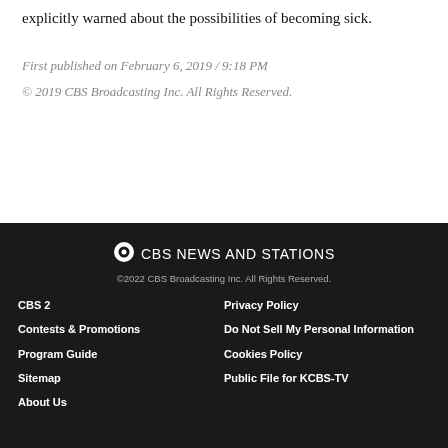explicitly warned about the possibilities of becoming sick.
First published on February 6, 2019 / 9:18 PM
© 2019 CBS Broadcasting Inc. All Rights Reserved.
©CBS NEWS AND STATIONS
©2022 CBS Broadcasting Inc. All Rights Reserved.
CBS 2 | Privacy Policy
Contests & Promotions | Do Not Sell My Personal Information
Program Guide | Cookies Policy
Sitemap | Public File for KCBS-TV
About Us